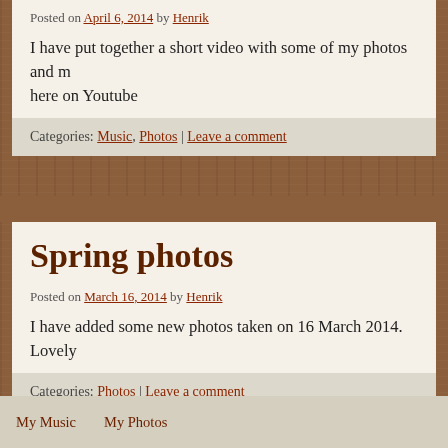Posted on April 6, 2014 by Henrik
I have put together a short video with some of my photos and m... here on Youtube
Categories: Music, Photos | Leave a comment
Spring photos
Posted on March 16, 2014 by Henrik
I have added some new photos taken on 16 March 2014. Lovely
Categories: Photos | Leave a comment
My Music   My Photos